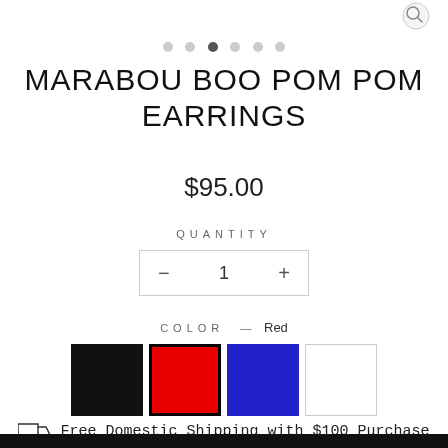[Figure (other): Partial product image top with search magnifier icon]
● ● ● ● ● ● (carousel dots, third active)
MARABOU BOO POM POM EARRINGS
$95.00
QUANTITY
— 1 +
COLOR — Red
[Figure (other): Color swatches: Black, Red (selected with black border), Blue, White]
Free Domestic Shipping with $100 Purchase